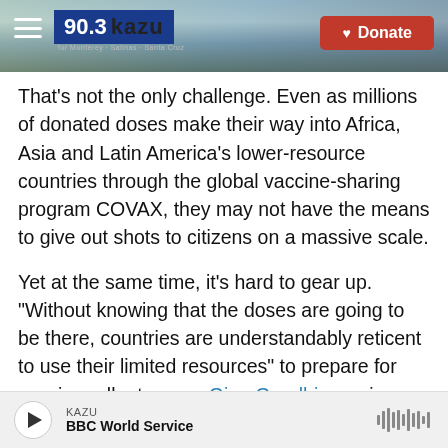[Figure (screenshot): KAZU 90.3 radio station header with coastal landscape background, hamburger menu icon, blue logo box, and red Donate button]
That's not the only challenge. Even as millions of donated doses make their way into Africa, Asia and Latin America's lower-resource countries through the global vaccine-sharing program COVAX, they may not have the means to give out shots to citizens on a massive scale.
Yet at the same time, it's hard to gear up. "Without knowing that the doses are going to be there, countries are understandably reticent to use their limited resources" to prepare for vaccine rollouts, says Gian Gandhi, vaccine access coordinator at UNICEF. His agency runs COVAX along with the
KAZU  BBC World Service